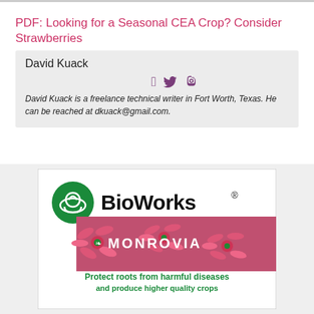PDF: Looking for a Seasonal CEA Crop? Consider Strawberries
David Kuack
David Kuack is a freelance technical writer in Fort Worth, Texas. He can be reached at dkuack@gmail.com.
[Figure (illustration): BioWorks logo with green circular icon featuring hands and plant, followed by a Monrovia banner with pink echinacea flowers overlaid. Text reads 'Protect roots from harmful diseases and produce higher quality crops']